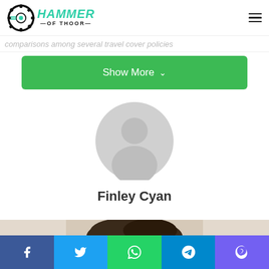Hammer Of Thoor — navigation header with logo and hamburger menu
comparisons among several travel cover policies
Show More
[Figure (illustration): Generic user avatar placeholder — grey circular silhouette of a person]
Finley Cyan
[Figure (photo): Partial photo of a person with dark hair, cropped at bottom of page]
Social share bar: Facebook, Twitter, WhatsApp, Telegram, Viber